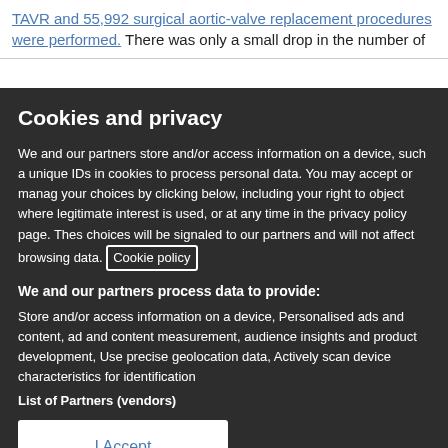TAVR and 55,992 surgical aortic-valve replacement procedures were performed. There was only a small drop in the number of
Cookies and privacy
We and our partners store and/or access information on a device, such as unique IDs in cookies to process personal data. You may accept or manage your choices by clicking below, including your right to object where legitimate interest is used, or at any time in the privacy policy page. These choices will be signaled to our partners and will not affect browsing data. Cookie policy
We and our partners process data to provide:
Store and/or access information on a device, Personalised ads and content, ad and content measurement, audience insights and product development, Use precise geolocation data, Actively scan device characteristics for identification
List of Partners (vendors)
I Accept